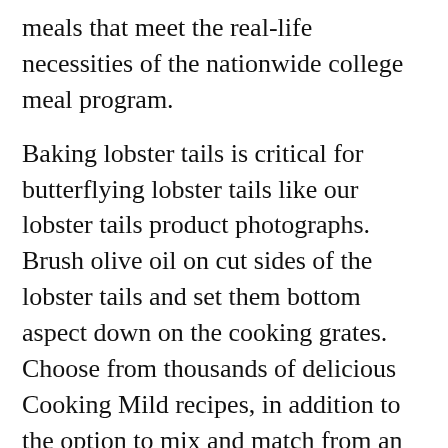meals that meet the real-life necessities of the nationwide college meal program.
Baking lobster tails is critical for butterflying lobster tails like our lobster tails product photographs. Brush olive oil on cut sides of the lobster tails and set them bottom aspect down on the cooking grates. Choose from thousands of delicious Cooking Mild recipes, in addition to the option to mix and match from an inventory of specialized meal plans.
Cooking lobster tails on the grill is also an ideal method as a result of you may add the grill strains in your lobster tails for an added impact for your friends. Via these programs, Cooking Matters contributors discover ways to choose nutritious